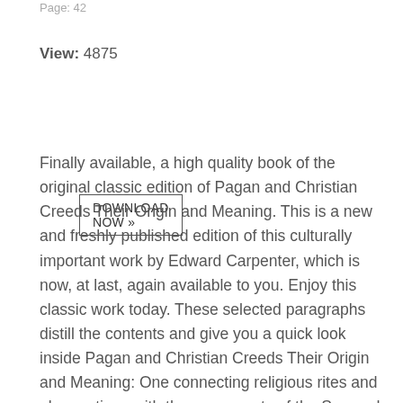Page: 42
View: 4875
DOWNLOAD NOW »
Finally available, a high quality book of the original classic edition of Pagan and Christian Creeds Their Origin and Meaning. This is a new and freshly published edition of this culturally important work by Edward Carpenter, which is now, at last, again available to you. Enjoy this classic work today. These selected paragraphs distill the contents and give you a quick look inside Pagan and Christian Creeds Their Origin and Meaning: One connecting religious rites and observations with the movements of the Sun and the planets in the sky,